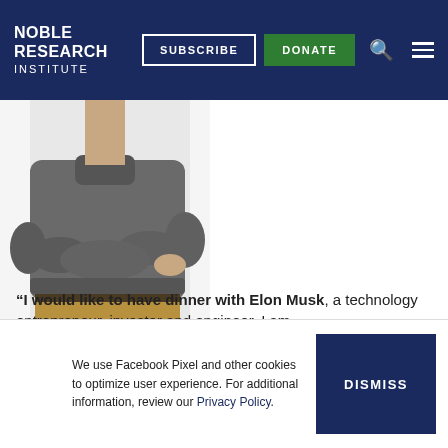NOBLE RESEARCH INSTITUTE
[Figure (photo): A person with arms crossed, wearing a grey sweater and khaki/tan pants, photographed from the torso down, white background.]
“I would like to have dinner with Elon Musk, a technology entrepreneur, investor and engineer. I am
We use Facebook Pixel and other cookies to optimize user experience. For additional information, review our Privacy Policy.